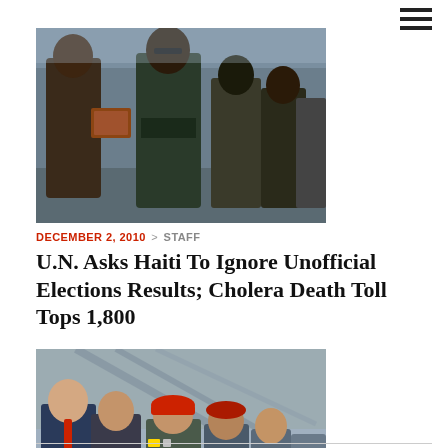[Figure (photo): People in outdoor scene, a person in dark military/security uniform interacting with civilians holding items]
DECEMBER 2, 2010 > STAFF
U.N. Asks Haiti To Ignore Unofficial Elections Results; Cholera Death Toll Tops 1,800
[Figure (photo): Group of men including a man in a suit and people in military uniforms with red berets, appearing to be at an official event]
APRIL 5, 2010 > STAFF
Venezuela and Russia Sign Energy and Defense Agreements